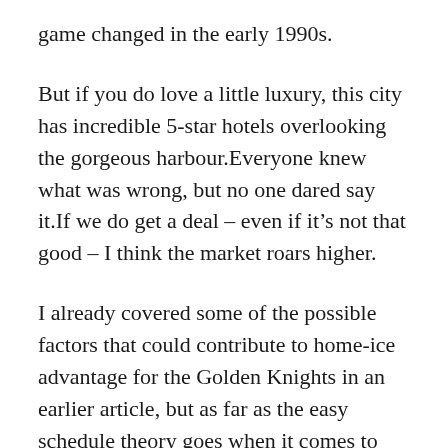game changed in the early 1990s.
But if you do love a little luxury, this city has incredible 5-star hotels overlooking the gorgeous harbour.Everyone knew what was wrong, but no one dared say it.If we do get a deal – even if it's not that good – I think the market roars higher.
I already covered some of the possible factors that could contribute to home-ice advantage for the Golden Knights in an earlier article, but as far as the easy schedule theory goes when it comes to their opponents, that kinda sorta died when they defeated both the St.Walter said: 'It's disgusting – I think that the dog